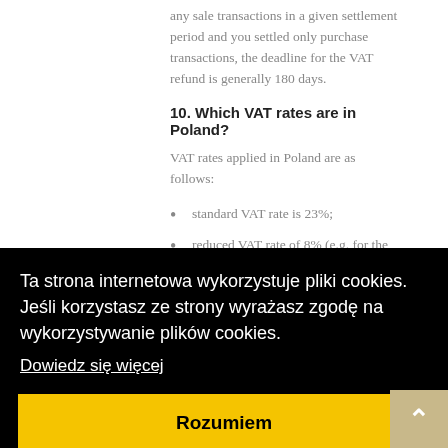any sale transactions in a given settlement period and you settled only purchase transactions, the deadline for the VAT refund is generally 180 days.
10. Which VAT rates are in Poland?
VAT rates applied in Poland are as follows:
standard VAT rate is 23%;
reduced VAT rate of 8% (e.g. for the supply of
[Figure (screenshot): Cookie consent banner overlay on a Polish website. Black background with white text reading 'Ta strona internetowa wykorzystuje pliki cookies. Jeśli korzystasz ze strony wyrażasz zgodę na wykorzystywanie plików cookies.' with a 'Dowiedz się więcej' underlined link and a yellow 'Rozumiem' button.]
settlements in Poland?